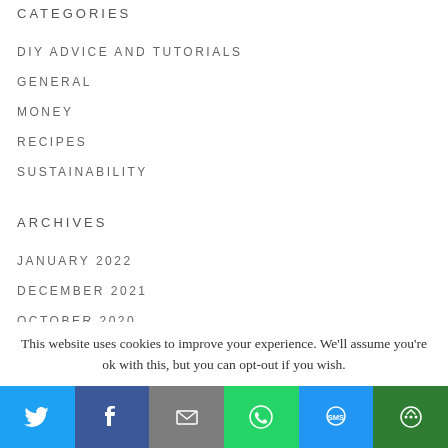CATEGORIES
DIY ADVICE AND TUTORIALS
GENERAL
MONEY
RECIPES
SUSTAINABILITY
ARCHIVES
JANUARY 2022
DECEMBER 2021
OCTOBER 2020
This website uses cookies to improve your experience. We'll assume you're ok with this, but you can opt-out if you wish.
[Figure (infographic): Social share bar with Twitter, Facebook, Email, WhatsApp, SMS, and More buttons]